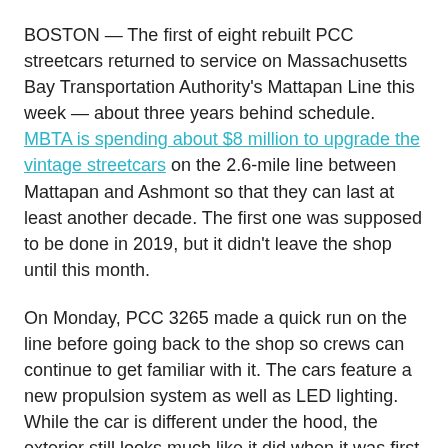BOSTON — The first of eight rebuilt PCC streetcars returned to service on Massachusetts Bay Transportation Authority's Mattapan Line this week — about three years behind schedule. MBTA is spending about $8 million to upgrade the vintage streetcars on the 2.6-mile line between Mattapan and Ashmont so that they can last at least another decade. The first one was supposed to be done in 2019, but it didn't leave the shop until this month.
On Monday, PCC 3265 made a quick run on the line before going back to the shop so crews can continue to get familiar with it. The cars feature a new propulsion system as well as LED lighting. While the car is different under the hood, the exterior still looks much like it did when it was first built in the 1940s. MBTA officials tell NBC Boston that the next rebuilt car will enter service this summer.
The Mattapan Line is one of the last traditional streetcar lines in the country using PCCs and it's also the only line to have never stopped using the iconic cars.